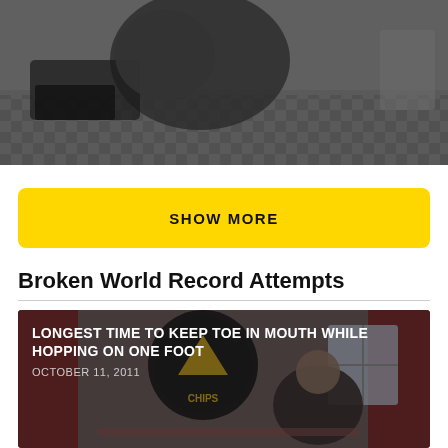[Figure (photo): Blurry dark photo of a person near objects on a checkered floor surface]
SHOW MORE
Broken World Record Attempts
[Figure (photo): Video thumbnail showing a person with toe in mouth hopping on one foot, with a club/pub sign visible in background]
LONGEST TIME TO KEEP TOE IN MOUTH WHILE HOPPING ON ONE FOOT
OCTOBER 11, 2011